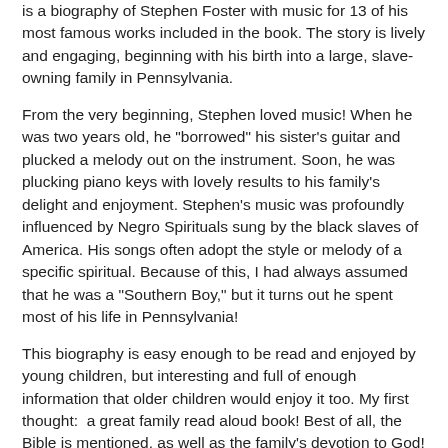is a biography of Stephen Foster with music for 13 of his most famous works included in the book. The story is lively and engaging, beginning with his birth into a large, slave-owning family in Pennsylvania.
From the very beginning, Stephen loved music! When he was two years old, he "borrowed" his sister's guitar and plucked a melody out on the instrument. Soon, he was plucking piano keys with lovely results to his family's delight and enjoyment. Stephen's music was profoundly influenced by Negro Spirituals sung by the black slaves of America. His songs often adopt the style or melody of a specific spiritual. Because of this, I had always assumed that he was a "Southern Boy," but it turns out he spent most of his life in Pennsylvania!
This biography is easy enough to be read and enjoyed by young children, but interesting and full of enough information that older children would enjoy it too. My first thought:  a great family read aloud book! Best of all, the Bible is mentioned, as well as the family's devotion to God!
The study guide, Stephen Foster and His Little Dog Tray Study Guide